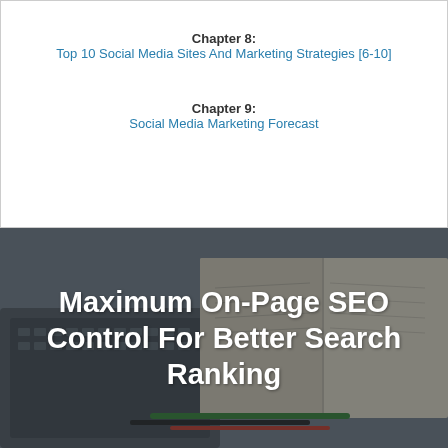Chapter 8:
Top 10 Social Media Sites And Marketing Strategies [6-10]
Chapter 9:
Social Media Marketing Forecast
[Figure (photo): Blurred background photo of a laptop keyboard and open books/notebooks on a desk, with pens and markers visible. Used as background for a book title overlay.]
Maximum On-Page SEO Control For Better Search Ranking